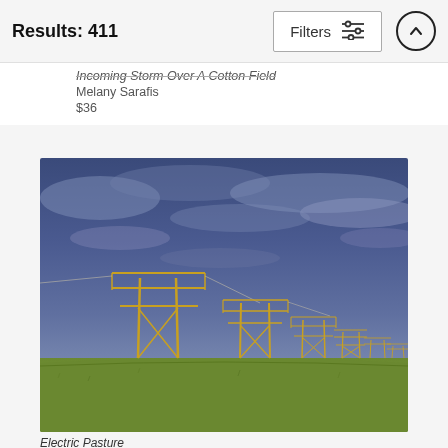Results: 411
Incoming Storm Over A Cotton Field
Melany Sarafis
$36
[Figure (photo): A row of electrical power transmission towers receding into the distance across a flat green pasture under a dramatic dark blue-purple stormy sky.]
Electric Pasture